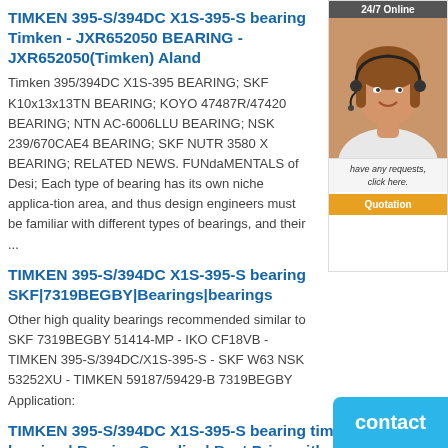TIMKEN 395-S/394DC X1S-395-S bearing Timken - JXR652050 BEARING - JXR652050(Timken) Aland
Timken 395/394DC X1S-395 BEARING; SKF K10x13x13TN BEARING; KOYO 47487R/47420 BEARING; NTN AC-6006LLU BEARING; NSK 239/670CAE4 BEARING; SKF NUTR 3580 X BEARING; RELATED NEWS. FUNdaMENTALS of Desi; Each type of bearing has its own niche applica-tion area, and thus design engineers must be familiar with different types of bearings, and their ...
TIMKEN 395-S/394DC X1S-395-S bearing SKF|7319BEGBY|Bearings|bearings
Other high quality bearings recommended similar to SKF 7319BEGBY 51414-MP - IKO CF18VB - TIMKEN 395-S/394DC/X1S-395-S - SKF W63 NSK 53252XU - TIMKEN 59187/59429-B 7319BEGBY Application:
TIMKEN 395-S/394DC X1S-395-S bearing timken 394d-3 bearing | Bearing Supplier | Best Price with
The main application areas of timken 394d-3 bearing bearings: aerospace engineering, metal cutting machine tools, steel processing equipment,paper making machinery, cement machinery, environmental protection equipment,agriculture, compressors, motors and generators, construction and so on.timken 394d-3 bearing are better than any brand be...
[Figure (photo): Customer service representative with headset. Sidebar with '24/7 Online' header, photo of woman with headset, text 'have any requests, click here.' and orange 'Quotation' button.]